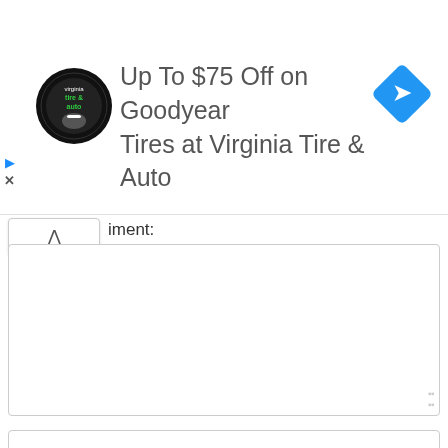[Figure (screenshot): Advertisement banner for Virginia Tire & Auto showing the store logo, text 'Up To $75 Off on Goodyear Tires at Virginia Tire & Auto', a blue diamond-shaped navigation icon with arrow, and ad controls (play/close buttons).]
iment:
[Figure (screenshot): A large empty comment textarea with a resize handle at the bottom-right corner, followed by form fields for Name:*, Email:*, Website:, a scroll-to-top blue button, and a checkbox with text 'Save my name, email, and website in this browser for the next']